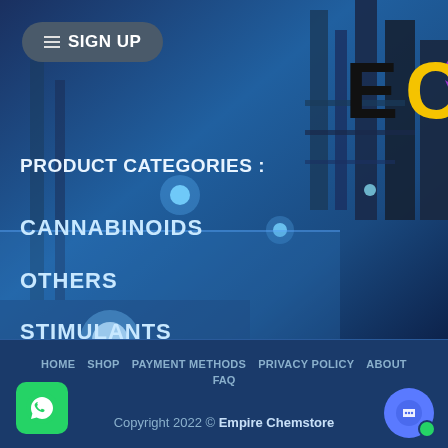[Figure (screenshot): Industrial chemical plant background with blue tinted overlay showing towers and pipes]
SIGN UP
[Figure (logo): EC logo with large black E, yellow C, purple test tube, and purple drop]
PRODUCT CATEGORIES :
CANNABINOIDS
OTHERS
STIMULANTS
uncategorized
HOME  SHOP  PAYMENT METHODS  PRIVACY POLICY  ABOUT  FAQ
Copyright 2022 © Empire Chemstore